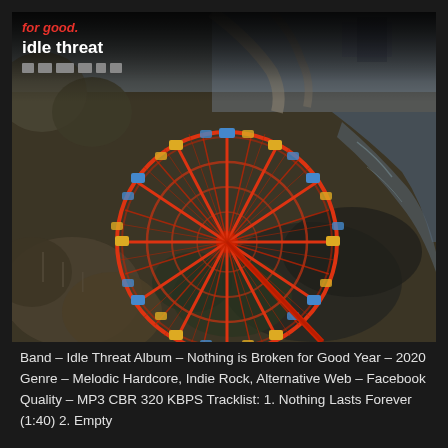idle threat
[Figure (photo): Aerial drone photograph looking down at a large Ferris wheel with red spokes and blue/yellow gondolas, situated in a park with bare trees, a winding path, and a creek or river visible. The wheel appears to be from an abandoned or off-season amusement park.]
Band – Idle Threat Album – Nothing is Broken for Good Year – 2020 Genre – Melodic Hardcore, Indie Rock, Alternative Web – Facebook Quality – MP3 CBR 320 KBPS Tracklist: 1. Nothing Lasts Forever (1:40) 2. Empty